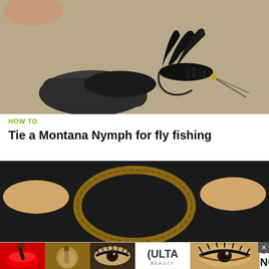[Figure (photo): Close-up photo of a fly fishing lure (Montana Nymph) being tied, held in a vise, with black feathers and hook detail visible, with a hand in background.]
HOW TO
Tie a Montana Nymph for fly fishing
[Figure (photo): Close-up photo of hands holding a round wicker or rattan frame/hoop against a dark background.]
[Figure (photo): Advertisement banner for ULTA Beauty featuring collage of makeup product images (red lips with brush, makeup brush, eye with dramatic makeup, ULTA logo, eye with dramatic makeup) and SHOP NOW text.]